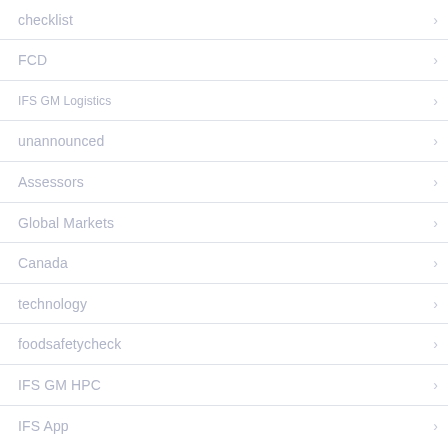checklist
FCD
IFS GM Logistics
unannounced
Assessors
Global Markets
Canada
technology
foodsafetycheck
IFS GM HPC
IFS App